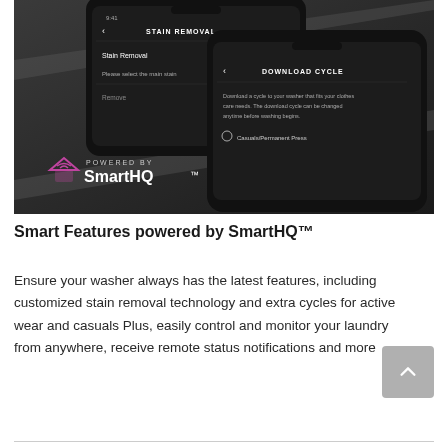[Figure (photo): Smartphone screens showing SmartHQ app interfaces: one displaying 'Stain Removal' screen with a toggle switch, and another displaying 'Download Cycle' screen. 'Powered by SmartHQ' logo visible in lower-left of the image.]
Smart Features powered by SmartHQ™
Ensure your washer always has the latest features, including customized stain removal technology and extra cycles for active wear and casuals Plus, easily control and monitor your laundry from anywhere, receive remote status notifications and more